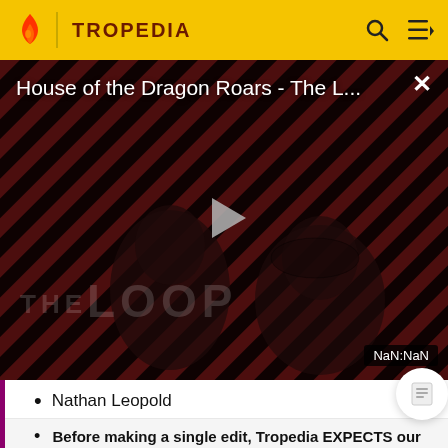TROPEDIA
[Figure (screenshot): Video player showing 'House of the Dragon Roars - The L...' with a play button overlay, diagonal striped background with red and dark tones, 'THE LOOP' watermark text, and a NaN:NaN timer badge in the bottom right corner.]
Nathan Leopold
Before making a single edit, Tropedia EXPECTS our site policy and manual of style to be followed. Failure to do so may
READ MORE